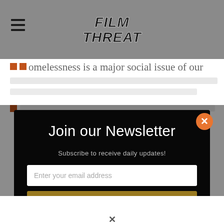Film Threat
omelessness is a major social issue of our
Join our Newsletter
Subscribe to receive daily updates!
Enter your email address
SIGN UP